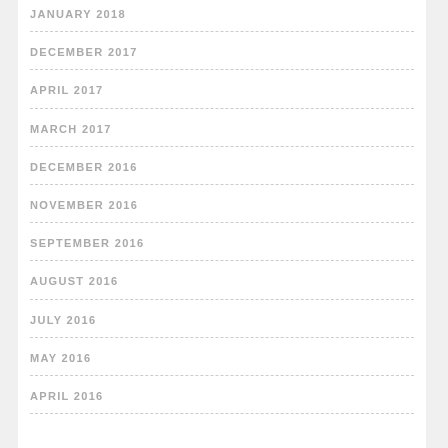JANUARY 2018
DECEMBER 2017
APRIL 2017
MARCH 2017
DECEMBER 2016
NOVEMBER 2016
SEPTEMBER 2016
AUGUST 2016
JULY 2016
MAY 2016
APRIL 2016